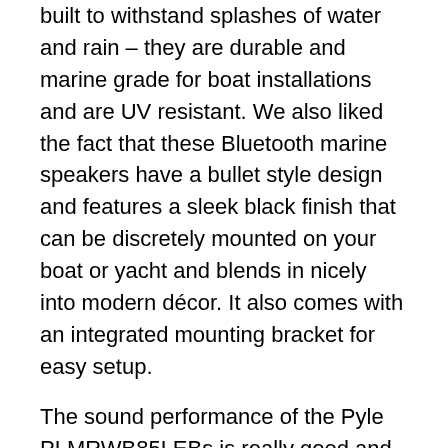built to withstand splashes of water and rain – they are durable and marine grade for boat installations and are UV resistant. We also liked the fact that these Bluetooth marine speakers have a bullet style design and features a sleek black finish that can be discretely mounted on your boat or yacht and blends in nicely into modern décor. It also comes with an integrated mounting bracket for easy setup.
The sound performance of the Pyle PLMRWB85LEBs is really good and it delivers dynamic stereo sound with pretty good bass response. These Bluetooth marine speakers are bullet-shaped which allow you to easily mount them on the boat or anywhere that you need. The highs and vocal performances on these Pyle speakers are crisp and crystal clear with great attention to detail. Music genres such as country folk and instrumental music sound very clear with decent sparkle, and the timbre ranges are clear and well-defined. The midrange performances have plenty of depth which certainly adds a lot of kick to bass heavy